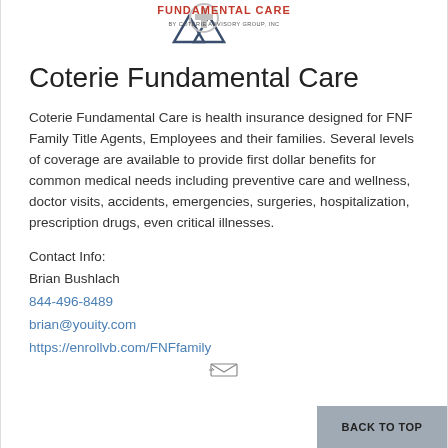[Figure (logo): Fundamental Care by Coterie Advisory Group Inc logo with medical cross symbol]
Coterie Fundamental Care
Coterie Fundamental Care is health insurance designed for FNF Family Title Agents, Employees and their families. Several levels of coverage are available to provide first dollar benefits for common medical needs including preventive care and wellness, doctor visits, accidents, emergencies, surgeries, hospitalization, prescription drugs, even critical illnesses.
Contact Info:
Brian Bushlach
844-496-8489
brian@youity.com
https://enrollvb.com/FNFfamily